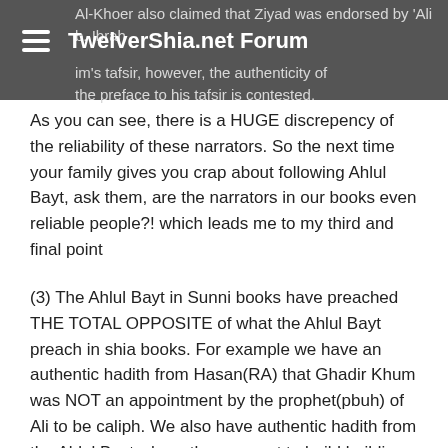TwelverShia.net Forum
Al-Khoer also claimed that Ziyad was endorsed by 'Ali b. Ibrahim al-Qummi's tafsir, however, the authenticity of the preface to his tafsir is contested.
As you can see, there is a HUGE discrepency of the reliability of these narrators. So the next time your family gives you crap about following Ahlul Bayt, ask them, are the narrators in our books even reliable people?! which leads me to my third and final point
(3) The Ahlul Bayt in Sunni books have preached THE TOTAL OPPOSITE of what the Ahlul Bayt preach in shia books. For example we have an authentic hadith from Hasan(RA) that Ghadir Khum was NOT an appointment by the prophet(pbuh) of Ali to be caliph. We also have authentic hadith from the Ahlul Bayt where they say not to build buildings over graves, and to level them even, but shias do the opposite. We have authentic hadith from ALI HIMSELF, where he praised tarawih prayer, but shias say tarawih is evil, also we dont have anything from the Ahlul Bayt in Sunni books where they preached imamah, or that they are divine and masum, or that they are higher than prophets, and the list goes